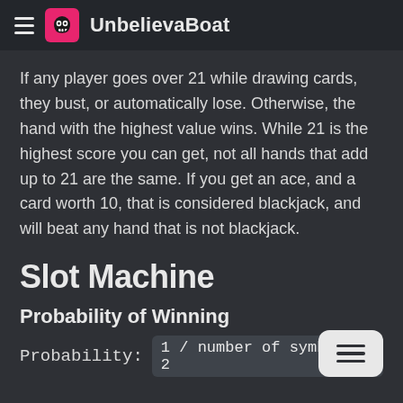UnbelievaBoat
If any player goes over 21 while drawing cards, they bust, or automatically lose. Otherwise, the hand with the highest value wins. While 21 is the highest score you can get, not all hands that add up to 21 are the same. If you get an ace, and a card worth 10, that is considered blackjack, and will beat any hand that is not blackjack.
Slot Machine
Probability of Winning
Probability:  1 / number of symbols ^ 2